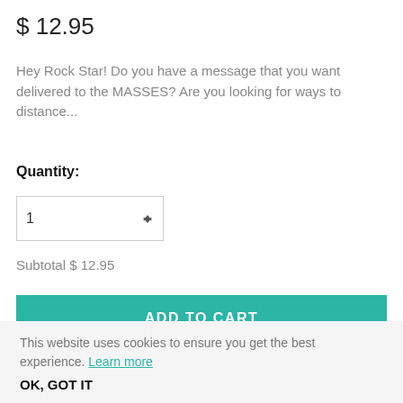$ 12.95
Hey Rock Star! Do you have a message that you want delivered to the MASSES? Are you looking for ways to distance...
Quantity:
1
Subtotal $ 12.95
ADD TO CART
This website uses cookies to ensure you get the best experience. Learn more
OK, GOT IT